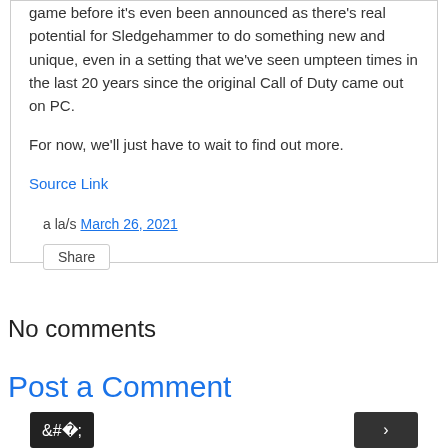game before it's even been announced as there's real potential for Sledgehammer to do something new and unique, even in a setting that we've seen umpteen times in the last 20 years since the original Call of Duty came out on PC.
For now, we'll just have to wait to find out more.
Source Link
a la/s March 26, 2021
Share
No comments
Post a Comment